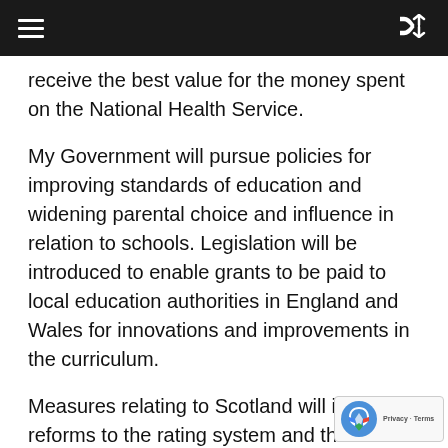receive the best value for the money spent on the National Health Service.
My Government will pursue policies for improving standards of education and widening parental choice and influence in relation to schools. Legislation will be introduced to enable grants to be paid to local education authorities in England and Wales for innovations and improvements in the curriculum.
Measures relating to Scotland will include reforms to the rating system and the reform of the law relating to roads.
In Northern Ireland, my Government will continue to give the highest priority to upholding law and